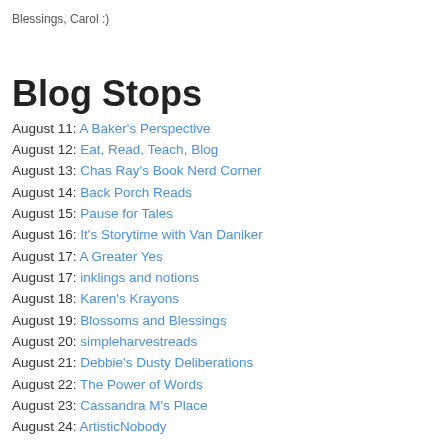Blessings, Carol :)
Blog Stops
August 11: A Baker's Perspective
August 12: Eat, Read, Teach, Blog
August 13: Chas Ray's Book Nerd Corner
August 14: Back Porch Reads
August 15: Pause for Tales
August 16: It's Storytime with Van Daniker
August 17: A Greater Yes
August 17: inklings and notions
August 18: Karen's Krayons
August 19: Blossoms and Blessings
August 20: simpleharvestreads
August 21: Debbie's Dusty Deliberations
August 22: The Power of Words
August 23: Cassandra M's Place
August 24: ArtisticNobody